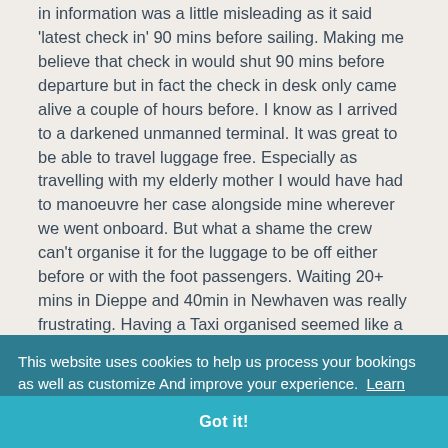in information was a little misleading as it said 'latest check in' 90 mins before sailing. Making me believe that check in would shut 90 mins before departure but in fact the check in desk only came alive a couple of hours before. I know as I arrived to a darkened unmanned terminal. It was great to be able to travel luggage free. Especially as travelling with my elderly mother I would have had to manoeuvre her case alongside mine wherever we went onboard. But what a shame the crew can't organise it for the luggage to be off either before or with the foot passengers. Waiting 20+ mins in Dieppe and 40min in Newhaven was really frustrating. Having a Taxi organised seemed like a good idea arriving back but it could have got expensive. All the staff we met and spoke to both sides of the channel and onboard were curtious
This website uses cookies to help us process your bookings as well as customize And improve your experience. Learn More
Got it!